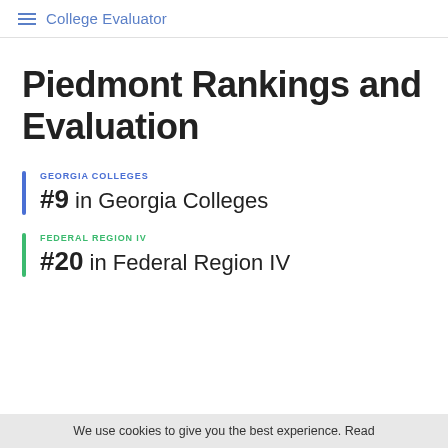College Evaluator
Piedmont Rankings and Evaluation
GEORGIA COLLEGES
#9 in Georgia Colleges
FEDERAL REGION IV
#20 in Federal Region IV
We use cookies to give you the best experience. Read